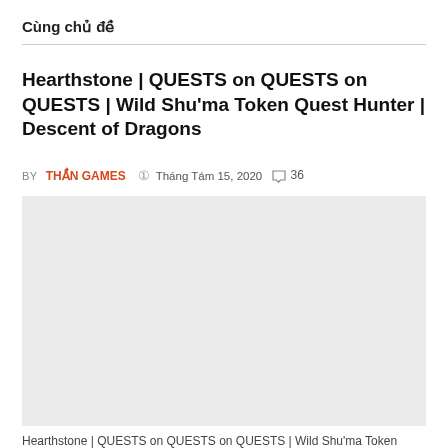Cùng chủ đề
Hearthstone | QUESTS on QUESTS on QUESTS | Wild Shu'ma Token Quest Hunter | Descent of Dragons
BY THẦN GAMES  © Tháng Tám 15, 2020  ○ 36
[Figure (photo): Thumbnail image placeholder (light grey rectangle) for the Hearthstone video article]
Hearthstone | QUESTS on QUESTS on QUESTS | Wild Shu'ma Token Quest Hunter | Descent of Dragons Tag: hearthstone